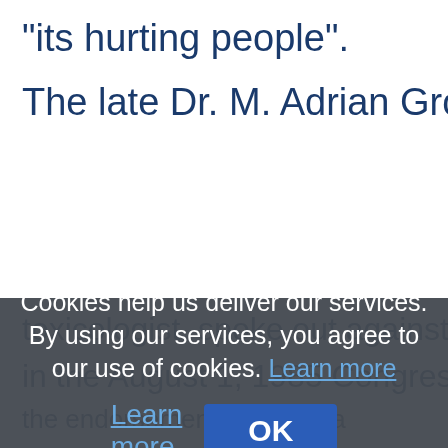"its hurting people".
The late Dr. M. Adrian Gross, an
toxicologist, spoke out against p... in the August 1, 1985 Congressional... the endorsement and n... safe... the safety of... we... extent... said ale
Cookies help us deliver our services. By using our services, you agree to our use of cookies. Learn more
OK